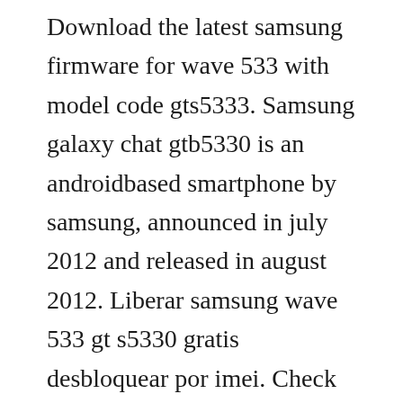Download the latest samsung firmware for wave 533 with model code gts5333. Samsung galaxy chat gtb5330 is an androidbased smartphone by samsung, announced in july 2012 and released in august 2012. Liberar samsung wave 533 gt s5330 gratis desbloquear por imei. Check out our free download or super fast premium options. Wrong firmware software change of a huawei zte, modem router, may dead your device permanently. Samsung wave lite 5250 discussione ufficiale archivio.